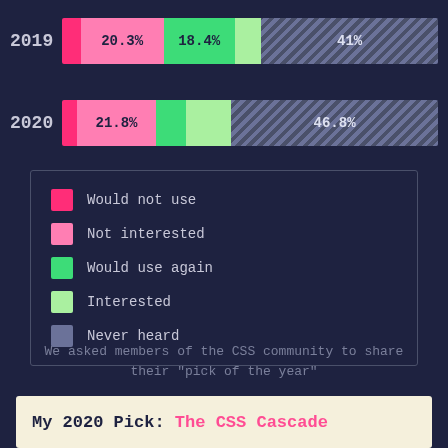[Figure (stacked-bar-chart): CSS usage survey 2019 vs 2020]
Would not use
Not interested
Would use again
Interested
Never heard
We asked members of the CSS community to share their "pick of the year"
My 2020 Pick: The CSS Cascade